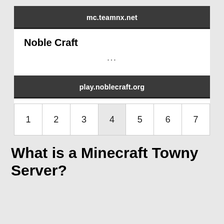mc.teamnx.net
Noble Craft
...
play.noblecraft.org
| 1 | 2 | 3 | 4 | 5 | 6 | 7 |
What is a Minecraft Towny Server?